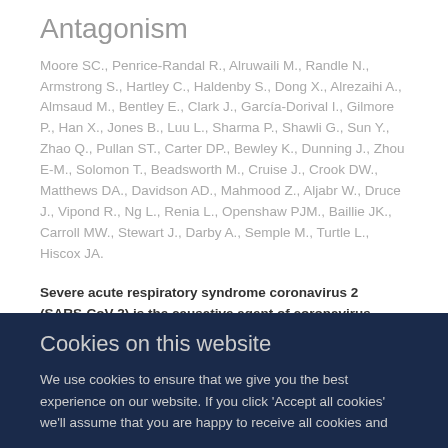Antagonism
Moore SC., Penrice-Randal R., Alruwaili M., Randle N., Armstrong S., Hartley C., Haldenby S., Dong X., Alrezaihi A., Almsaud M., Bentley E., Clark J., García-Dorival I., Gilmore P., Han X., Jones B., Luu L., Sharma P., Shawli G., Sun Y., Zhao Q., Pullan ST., Carter DP., Bewley K., Dunning J., Zhou E-M., Solomon T., Beadsworth M., Cruise J., Crook DW., Matthews DA., Davidson AD., Mahmood Z., Aljabr W., Druce J., Vipond R., Ng L., Renia L., Openshaw PJM., Baillie JK., Carroll MW., Stewart J., Darby A., Semple M., Turtle L., Hiscox JA.
Severe acute respiratory syndrome coronavirus 2 (SARS-CoV-2) is the causative agent of coronavirus disease 2019 (COVID-19). Sequencing the viral genome as the outbreak progresses
Cookies on this website
We use cookies to ensure that we give you the best experience on our website. If you click 'Accept all cookies' we'll assume that you are happy to receive all cookies and